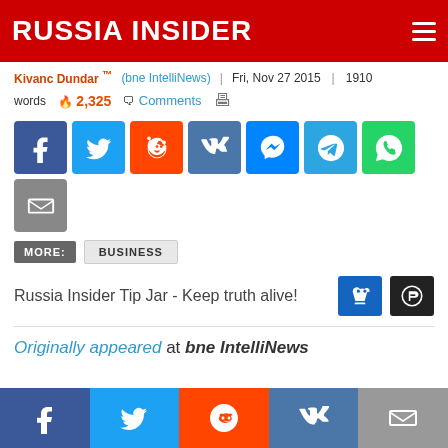RUSSIA INSIDER
Kivanc Dundar ™ (bne IntelliNews) Fri, Nov 27 2015 | 1910 words  2,325  Comments
[Figure (infographic): Social share buttons: Facebook, Twitter, Reddit, VK, Messenger, Telegram, WhatsApp, Email]
MORE: BUSINESS
Russia Insider Tip Jar - Keep truth alive!
Originally appeared at bne IntelliNews
[Figure (infographic): Bottom bar with social share buttons: Facebook, Twitter, Reddit, VK, Email]